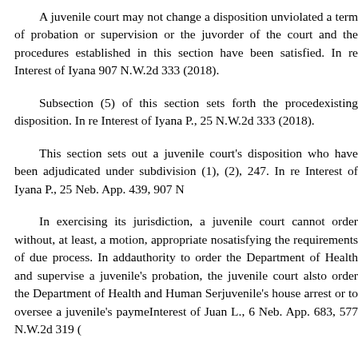A juvenile court may not change a disposition un- violated a term of probation or supervision or the juv- order of the court and the procedures established in this section have been satisfied. In re Interest of Iyana 907 N.W.2d 333 (2018).
Subsection (5) of this section sets forth the proced- existing disposition. In re Interest of Iyana P., 25 N.W.2d 333 (2018).
This section sets out a juvenile court's disposition who have been adjudicated under subdivision (1), (2), 247. In re Interest of Iyana P., 25 Neb. App. 439, 907 N
In exercising its jurisdiction, a juvenile court cannot order without, at least, a motion, appropriate no- satisfying the requirements of due process. In add- authority to order the Department of Health and supervise a juvenile's probation, the juvenile court als- to order the Department of Health and Human Ser- juvenile's house arrest or to oversee a juvenile's payme- Interest of Juan L., 6 Neb. App. 683, 577 N.W.2d 319 (